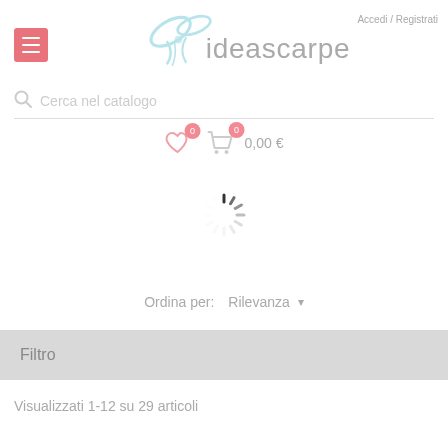[Figure (logo): ideascarpe logo with decorative scissors/bow graphic in light blue and gray tones]
Accedi / Registrati
Cerca nel catalogo
0,00 €
[Figure (other): Loading spinner animation]
Ordina per:
Rilevanza
Filtro
Visualizzati 1-12 su 29 articoli